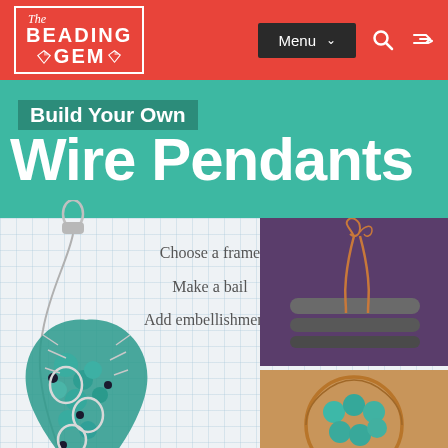[Figure (logo): The Beading Gem logo in white text with diamond icons inside a white border rectangle on red background]
[Figure (screenshot): Website screenshot showing The Beading Gem blog header with red navigation bar containing logo, Menu dropdown, search and shuffle icons]
[Figure (illustration): Build Your Own Wire Pendants promotional image with teal background, text overlay, wire pendant jewelry photo on left, and two tutorial photos on right showing wire forming techniques]